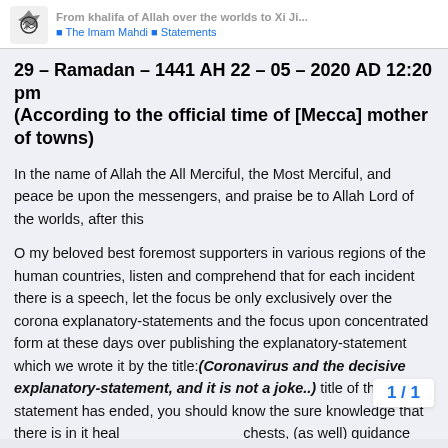From khalifa of Allah over the worlds to Xi Ji... | The Imam Mahdi | Statements
29 – Ramadan – 1441 AH 22 – 05 – 2020 AD 12:20 pm (According to the official time of [Mecca] mother of towns)
In the name of Allah the All Merciful, the Most Merciful, and peace be upon the messengers, and praise be to Allah Lord of the worlds, after this
O my beloved best foremost supporters in various regions of the human countries, listen and comprehend that for each incident there is a speech, let the focus be only exclusively over the corona explanatory-statements and the focus upon concentrated form at these days over publishing the explanatory-statement which we wrote it by the title:(Coronavirus and the decisive explanatory-statement, and it is not a joke..) title of the statement has ended, you should know the sure knowledge that there is in it healing to what's in the chests, (as well) guidance and mercy and Allah is Witness and Guardian ove
1 / 1